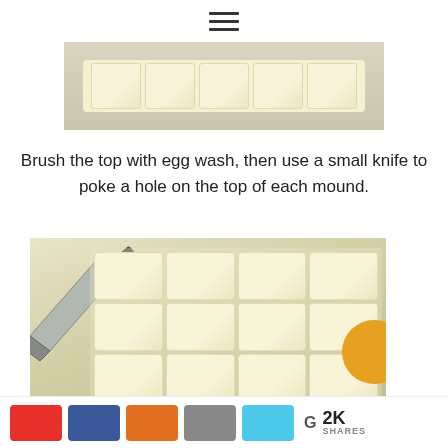[Figure (photo): A strip of unbaked dough rolls on a gray surface, viewed from above, showing multiple rectangular dough sections side by side.]
Brush the top with egg wash, then use a small knife to poke a hole on the top of each mound.
[Figure (photo): A knife being used to poke holes in egg-washed rectangular dough mounds arranged in a 4x3 grid on parchment paper. An orange circle decoration is visible on the right side.]
2K SHARES